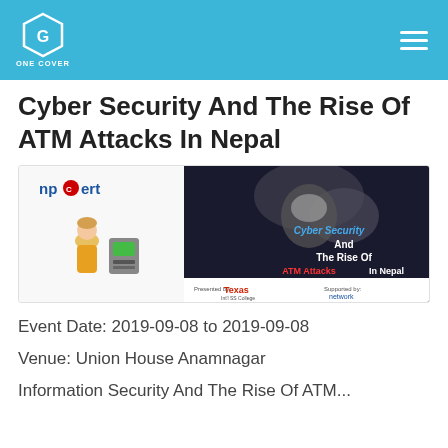ONE COVER
Cyber Security And The Rise Of ATM Attacks In Nepal
[Figure (illustration): Event banner for 'Cyber Security And The Rise Of ATM Attacks In Nepal' presented by npCERT and Texas Int'l SS College, supported by network and other organizations. Shows a person at an ATM and a shadowy hacker figure.]
Event Date: 2019-09-08 to 2019-09-08
Venue: Union House Anamnagar
Information Security And The Rise Of ATM...